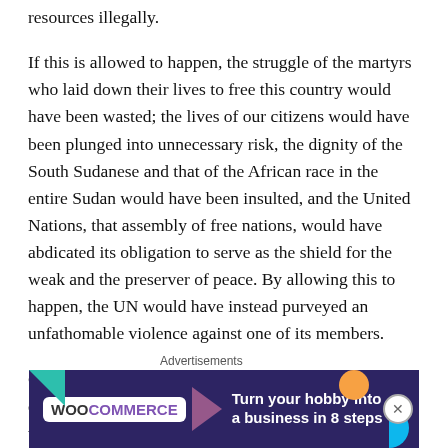resources illegally.
If this is allowed to happen, the struggle of the martyrs who laid down their lives to free this country would have been wasted; the lives of our citizens would have been plunged into unnecessary risk, the dignity of the South Sudanese and that of the African race in the entire Sudan would have been insulted, and the United Nations, that assembly of free nations, would have abdicated its obligation to serve as the shield for the weak and the preserver of peace. By allowing this to happen, the UN would have instead purveyed an unfathomable violence against one of its members.
Given the pending destruction of our country and our dignity as a people, we would like the world to know that, like any
Advertisements
[Figure (other): WooCommerce advertisement banner with dark purple background, teal triangle shape top-left, orange circle top-right, blue semicircle bottom-right. WooCommerce logo on white badge with purple arrow, text reads 'Turn your hobby into a business in 8 steps']